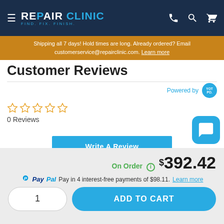REPAIR CLINIC — FIND. FIX. FINISH.
Shipping all 7 days! Hold times are long. Already ordered? Email customerservice@repairclinic.com. Learn more
Customer Reviews
Powered by Yotpo
☆☆☆☆☆
0 Reviews
Write A Review
On Order  $392.42
PayPal Pay in 4 interest-free payments of $98.11. Learn more
1  ADD TO CART